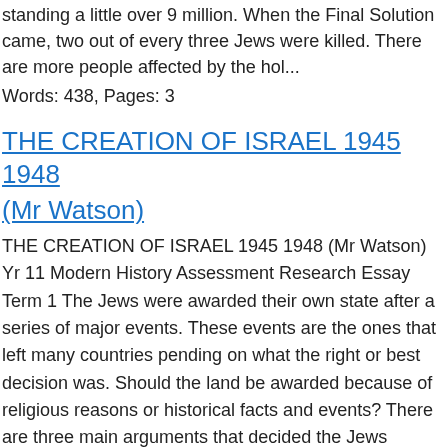standing a little over 9 million. When the Final Solution came, two out of every three Jews were killed. There are more people affected by the hol...
Words: 438, Pages: 3
THE CREATION OF ISRAEL 1945 1948
(Mr Watson)
THE CREATION OF ISRAEL 1945 1948 (Mr Watson) Yr 11 Modern History Assessment Research Essay Term 1 The Jews were awarded their own state after a series of major events. These events are the ones that left many countries pending on what the right or best decision was. Should the land be awarded because of religious reasons or historical facts and events? There are three main arguments that decided the Jews became the State of Israel. These are: Zionism, the Holocaust and the Balfour Decla